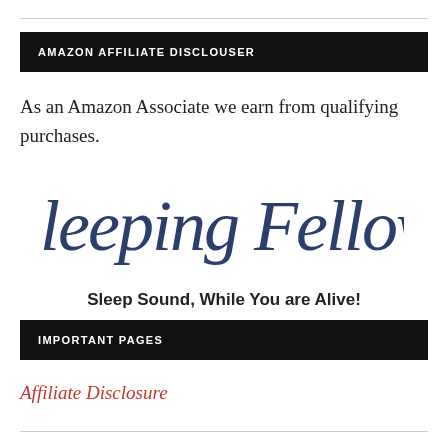AMAZON AFFILIATE DISCLOUSER
As an Amazon Associate we earn from qualifying purchases.
[Figure (logo): Sleeping Fellow script logo in dark navy blue cursive text]
Sleep Sound, While You are Alive!
IMPORTANT PAGES
Affiliate Disclosure